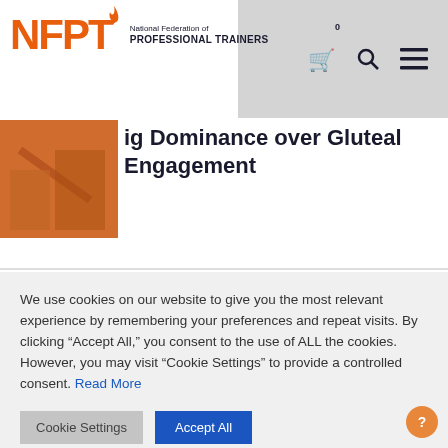[Figure (logo): NFPT - National Federation of Professional Trainers logo with orange flame icon]
[Figure (photo): Orange/brown tinted thumbnail image for article about hip dominance and gluteal engagement]
ig Dominance over Gluteal Engagement
We use cookies on our website to give you the most relevant experience by remembering your preferences and repeat visits. By clicking “Accept All,” you consent to the use of ALL the cookies. However, you may visit “Cookie Settings” to provide a controlled consent. Read More
Cookie Settings | Accept All